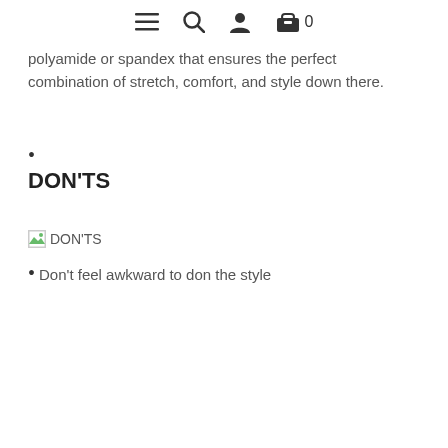≡ 🔍 👤 🛍 0
polyamide or spandex that ensures the perfect combination of stretch, comfort, and style down there.
•
DON'TS
[Figure (illustration): Broken image placeholder with alt text DON'TS and a small green image icon]
• Don't feel awkward to don the style